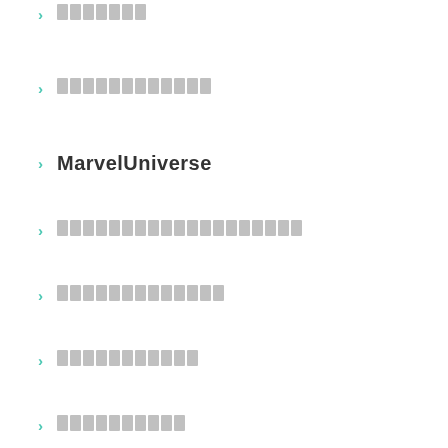[redacted]
[redacted]
MarvelUniverse
[redacted]
[redacted]
[redacted]
[redacted]
[redacted]
[redacted]
[redacted]